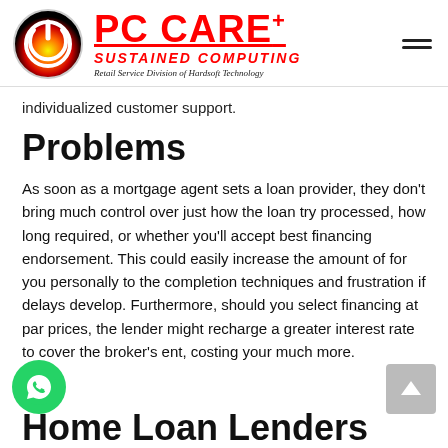[Figure (logo): PC CARE+ logo with power button icon circle and brand text 'PC CARE+ SUSTAINED COMPUTING, Retail Service Division of Hardsoft Technology']
individualized customer support.
Problems
As soon as a mortgage agent sets a loan provider, they don't bring much control over just how the loan try processed, how long required, or whether you'll accept best financing endorsement. This could easily increase the amount of for you personally to the completion techniques and frustration if delays develop. Furthermore, should you select financing at par prices, the lender might recharge a greater interest rate to cover the broker's ent, costing your much more.
Home Loan Lenders